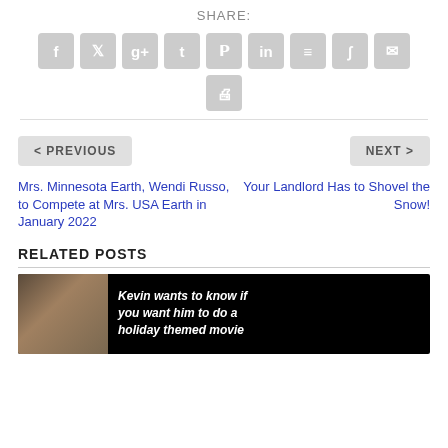SHARE:
[Figure (infographic): Social share buttons: Facebook, Twitter, Google+, Tumblr, Pinterest, LinkedIn, Buffer, StumbleUpon, Email, Print]
< PREVIOUS
Mrs. Minnesota Earth, Wendi Russo, to Compete at Mrs. USA Earth in January 2022
NEXT >
Your Landlord Has to Shovel the Snow!
RELATED POSTS
[Figure (photo): Dark image of a man with italic white text: Kevin wants to know if you want him to do a holiday themed movie]